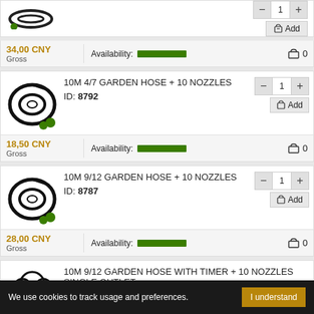34,00 CNY
Gross — Availability: [green bar] — cart: 0
10M 4/7 GARDEN HOSE + 10 NOZZLES
ID: 8792
18,50 CNY
Gross — Availability: [green bar] — cart: 0
10M 9/12 GARDEN HOSE + 10 NOZZLES
ID: 8787
28,00 CNY
Gross — Availability: [green bar] — cart: 0
10M 9/12 GARDEN HOSE WITH TIMER + 10 NOZZLES SINGLE OUTLET
We use cookies to track usage and preferences.
I understand